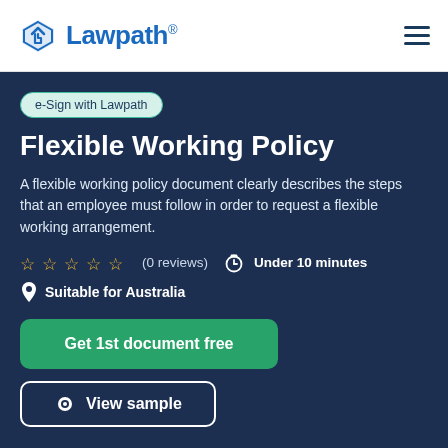Lawpath
e-Sign with Lawpath
Flexible Working Policy
A flexible working policy document clearly describes the steps that an employee must follow in order to request a flexible working arrangement.
☆ ☆ ☆ ☆ ☆ (0 reviews)  Under 10 minutes
Suitable for Australia
Get 1st document free
View sample